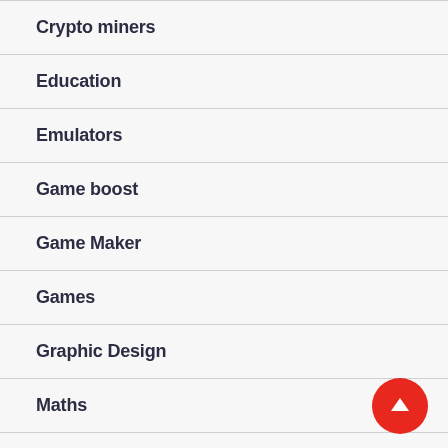Crypto miners
Education
Emulators
Game boost
Game Maker
Games
Graphic Design
Maths